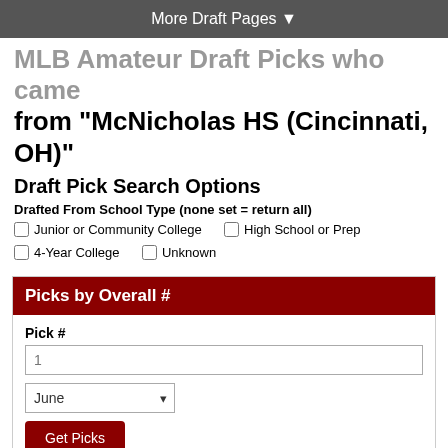More Draft Pages ▼
MLB Amateur Draft Picks who came from "McNicholas HS (Cincinnati, OH)"
Draft Pick Search Options
Drafted From School Type (none set = return all)
Junior or Community College
High School or Prep
4-Year College
Unknown
Picks by Overall #
Pick #
June
Get Picks